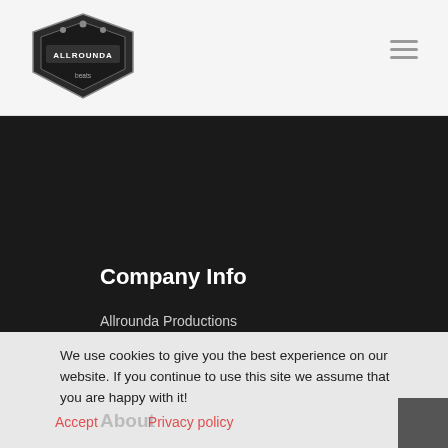[Figure (logo): Allrounda Productions logo badge in black and white]
≡
Company Info
Allrounda Productions
Kerpen / Germany
info@allrounda.com
allroundabeats.com
We use cookies to give you the best experience on our website. If you continue to use this site we assume that you are happy with it!
×
Accept   Privacy policy
About